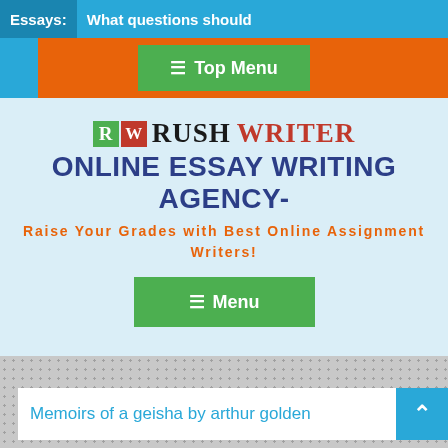Essays: What questions should
☰ Top Menu
RW RUSH WRITER ONLINE ESSAY WRITING AGENCY-
Raise Your Grades with Best Online Assignment Writers!
☰ Menu
Memoirs of a geisha by arthur golden